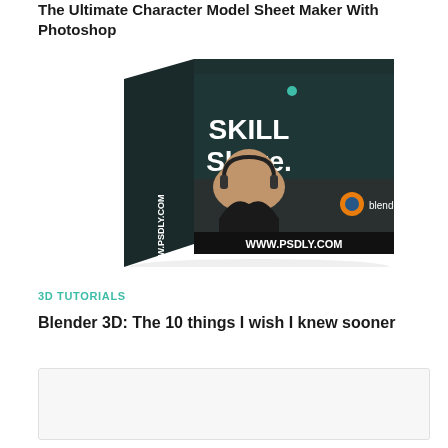The Ultimate Character Model Sheet Maker With Photoshop
[Figure (illustration): A 3D rendered product box with dark teal background featuring 'SKILL Share.' logo with a green dot, a person wearing headphones, Blender logo, and 'WWW.PSDLY.COM' text on front and side of the box.]
3D TUTORIALS
Blender 3D: The 10 things I wish I knew sooner
[Figure (illustration): Bottom image box partially visible, light gray background.]